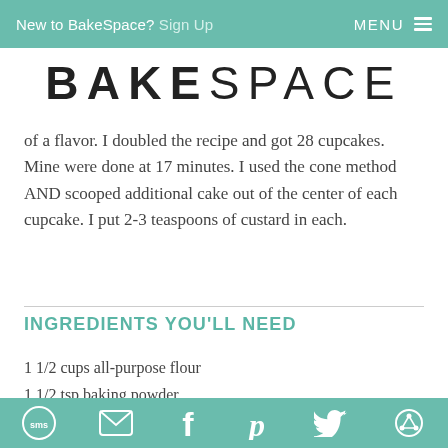New to BakeSpace? Sign Up   MENU ≡
BAKESPACE
of a flavor. I doubled the recipe and got 28 cupcakes. Mine were done at 17 minutes. I used the cone method AND scooped additional cake out of the center of each cupcake. I put 2-3 teaspoons of custard in each.
INGREDIENTS YOU'LL NEED
1 1/2 cups all-purpose flour
1 1/2 tsp baking powder
1/4 tsp salt
SMS | Email | Facebook | Pinterest | Twitter | Other